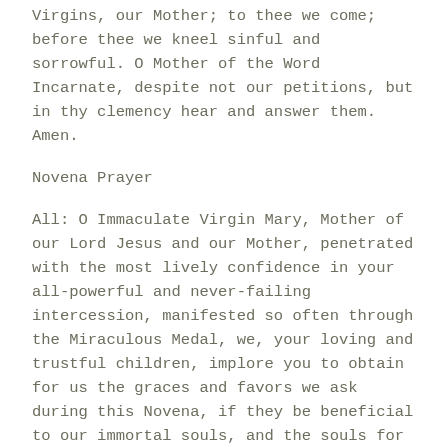Virgins, our Mother; to thee we come; before thee we kneel sinful and sorrowful. O Mother of the Word Incarnate, despite not our petitions, but in thy clemency hear and answer them. Amen.
Novena Prayer
All: O Immaculate Virgin Mary, Mother of our Lord Jesus and our Mother, penetrated with the most lively confidence in your all-powerful and never-failing intercession, manifested so often through the Miraculous Medal, we, your loving and trustful children, implore you to obtain for us the graces and favors we ask during this Novena, if they be beneficial to our immortal souls, and the souls for whom we pray.
(Here privately form your petitions.)
You know, O Mary, how often our souls have been the sanctuaries of your Son who hates iniquity. Obtain for us